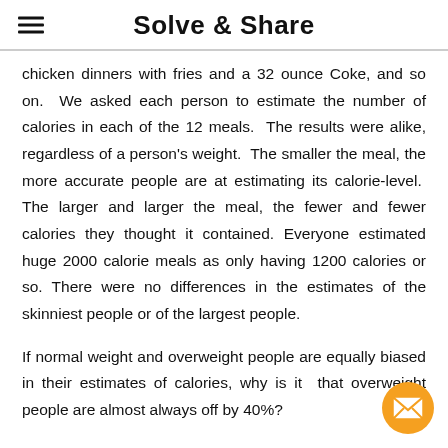Solve & Share
chicken dinners with fries and a 32 ounce Coke, and so on. We asked each person to estimate the number of calories in each of the 12 meals. The results were alike, regardless of a person's weight. The smaller the meal, the more accurate people are at estimating its calorie-level. The larger and larger the meal, the fewer and fewer calories they thought it contained. Everyone estimated huge 2000 calorie meals as only having 1200 calories or so. There were no differences in the estimates of the skinniest people or of the largest people.
If normal weight and overweight people are equally biased in their estimates of calories, why is it that overweight people are almost always off by 40%?